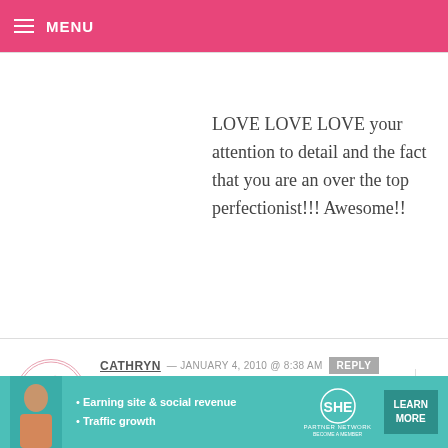MENU
LOVE LOVE LOVE your attention to detail and the fact that you are an over the top perfectionist!!! Awesome!!
CATHRYN — JANUARY 4, 2010 @ 8:38 AM REPLY
How well do these survive being mailed? These would be cute in goody boxes for distant relatives.
[Figure (other): Advertisement banner for SHE Partner Network with text: Earning site & social revenue, Traffic growth, LEARN MORE, BECOME A MEMBER]